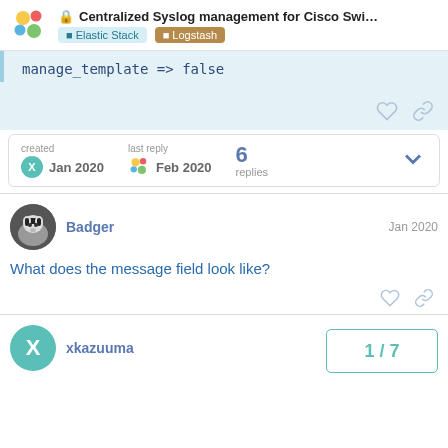Centralized Syslog management for Cisco Swi... | Elastic Stack | Logstash
manage_template => false
created Jan 2020   last reply Feb 2020   6 replies
Badger   Jan 2020
What does the message field look like?
xkazuuma   Jan 2020
1 / 7